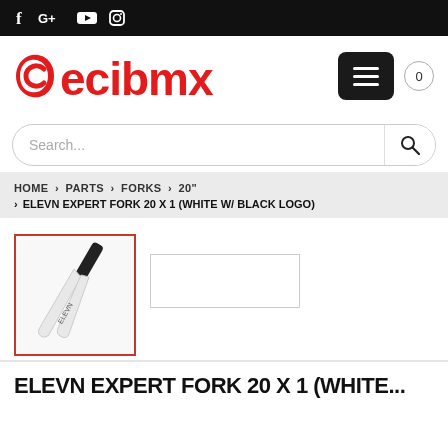f G+ ▶ ○ (social media icons top bar)
[Figure (logo): Cecibmx logo in red with stylized C icon]
Search...
HOME › PARTS › FORKS › 20"
› ELEVN EXPERT FORK 20 X 1 (WHITE W/ BLACK LOGO)
[Figure (photo): Thumbnail of white BMX fork with black steerer tube (ELEVN Expert Fork 20x1, white with black logo)]
ELEVN EXPERT FORK 20 X 1 (WHITE...